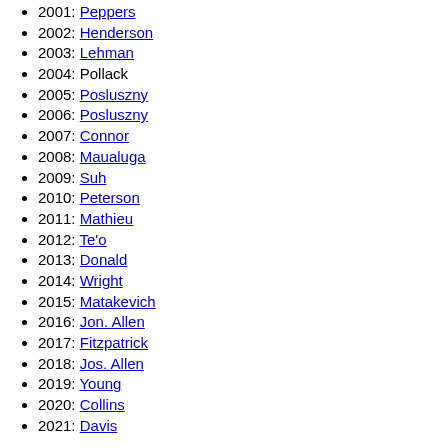2001: Peppers
2002: Henderson
2003: Lehman
2004: Pollack
2005: Posluszny
2006: Posluszny
2007: Connor
2008: Maualuga
2009: Suh
2010: Peterson
2011: Mathieu
2012: Te'o
2013: Donald
2014: Wright
2015: Matakevich
2016: Jon. Allen
2017: Fitzpatrick
2018: Jos. Allen
2019: Young
2020: Collins
2021: Davis
v
t